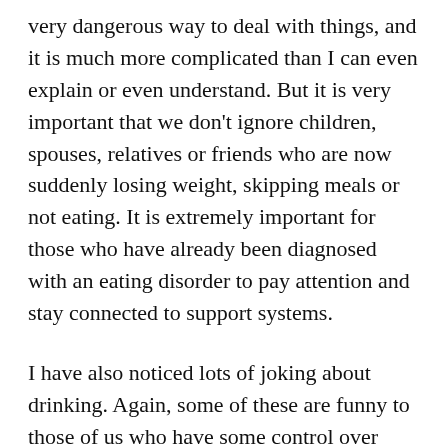very dangerous way to deal with things, and it is much more complicated than I can even explain or even understand. But it is very important that we don't ignore children, spouses, relatives or friends who are now suddenly losing weight, skipping meals or not eating. It is extremely important for those who have already been diagnosed with an eating disorder to pay attention and stay connected to support systems.

I have also noticed lots of joking about drinking. Again, some of these are funny to those of us who have some control over how much we drink. I totally relate to the use of